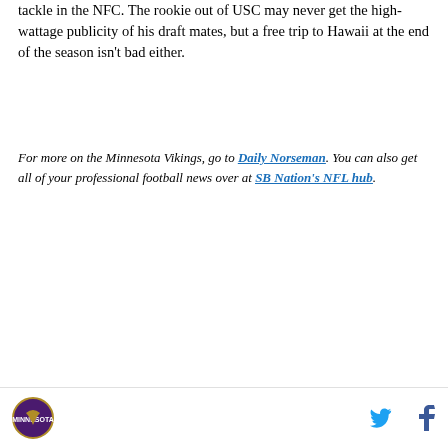tackle in the NFC. The rookie out of USC may never get the high-wattage publicity of his draft mates, but a free trip to Hawaii at the end of the season isn't bad either.
For more on the Minnesota Vikings, go to Daily Norseman. You can also get all of your professional football news over at SB Nation's NFL hub.
[Figure (other): DraftKings Sportsbook bet widget showing GB vs MIN game on 9/11 8:25p with spread -1.5 (-110) for GB and +1.5 (-110) for MIN]
Minnesota Vikings team logo and social media icons (Twitter, Facebook)